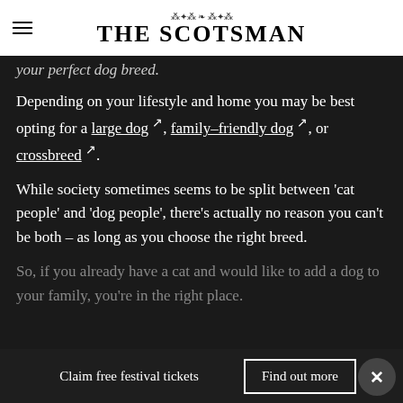THE SCOTSMAN
your perfect dog breed.
Depending on your lifestyle and home you may be best opting for a large dog ↗, family-friendly dog ↗, or crossbreed ↗.
While society sometimes seems to be split between 'cat people' and 'dog people', there's actually no reason you can't be both – as long as you choose the right breed.
So, if you already have a cat and would like to add a dog to your family, you're in the right place.
Claim free festival tickets   Find out more